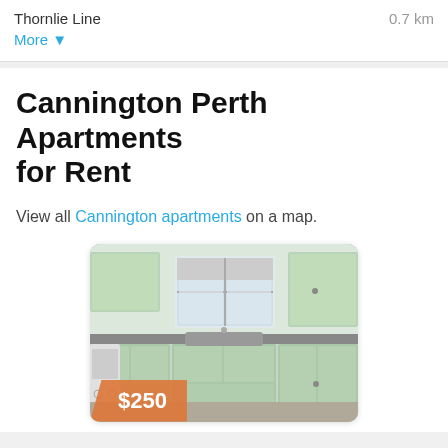Thornlie Line
0.7 km
More ▼
Cannington Perth Apartments for Rent
View all Cannington apartments on a map.
[Figure (photo): Kitchen interior of an apartment with mint green cabinets, a window, and a price badge showing $250]
$250